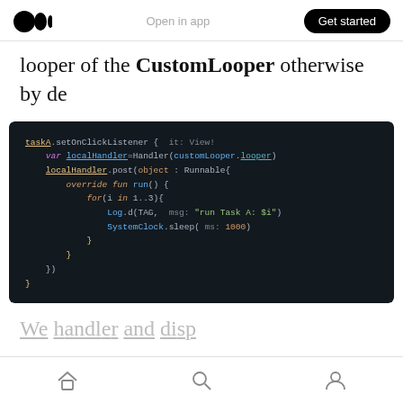Medium logo | Open in app | Get started
looper of the CustomLooper otherwise by de
[Figure (screenshot): Dark-themed Android Studio / Kotlin code editor screenshot showing: taskA.setOnClickListener { it: View! — var localHandler=Handler(customLooper.looper) — localHandler.post(object : Runnable{ — override fun run() { — for(i in 1..3){ — Log.d(TAG, msg: "run Task A: $i") — SystemClock.sleep( ms: 1000) — } — } — }) — }]
We h...
Home | Search | Profile icons